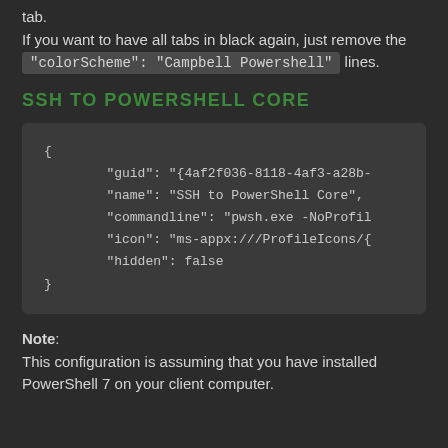tab.
If you want to have all tabs in black again, just remove the "colorScheme": "Campbell Powershell" lines.
SSH TO POWERSHELL CORE
{
    "guid": "{4af2f036-8118-4af3-a28b-
    "name": "SSH to PowerShell Core",
    "commandline": "pwsh.exe -NoProfil
    "icon": "ms-appx:///ProfileIcons/{
    "hidden": false
}
Note: This configuration is assuming that you have installed PowerShell 7 on your client computer.